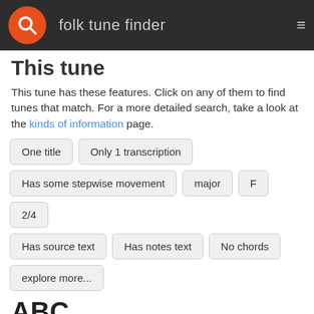folk tune finder
This tune
This tune has these features. Click on any of them to find tunes that match. For a more detailed search, take a look at the kinds of information page.
One title
Only 1 transcription
Has some stepwise movement
major
F
2/4
Has source text
Has notes text
No chords
explore more...
ABC
You can learn more at abcnotation.com.
X: 1